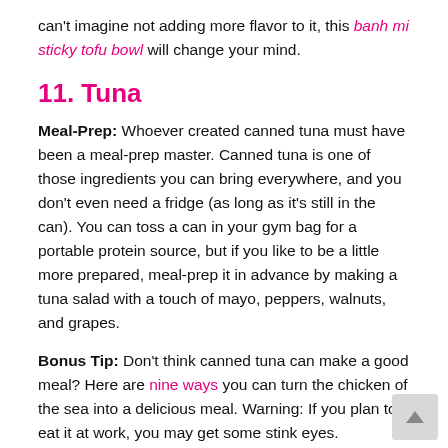can't imagine not adding more flavor to it, this banh mi sticky tofu bowl will change your mind.
11. Tuna
Meal-Prep: Whoever created canned tuna must have been a meal-prep master. Canned tuna is one of those ingredients you can bring everywhere, and you don't even need a fridge (as long as it's still in the can). You can toss a can in your gym bag for a portable protein source, but if you like to be a little more prepared, meal-prep it in advance by making a tuna salad with a touch of mayo, peppers, walnuts, and grapes.
Bonus Tip: Don't think canned tuna can make a good meal? Here are nine ways you can turn the chicken of the sea into a delicious meal. Warning: If you plan to eat it at work, you may get some stink eyes.